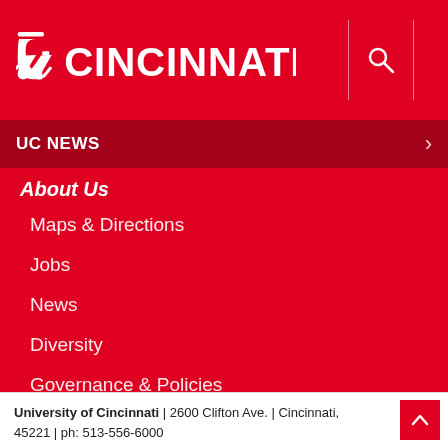UC CINCINNATI
UC NEWS
About Us
Maps & Directions
Jobs
News
Diversity
Governance & Policies
Directory
Events Calendar
University of Cincinnati | 2600 Clifton Ave. | Cincinnati, 45221 | ph: 513-556-6000